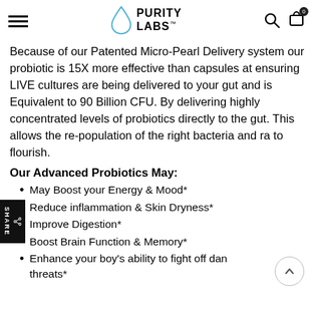PURITY LABS
Because of our Patented Micro-Pearl Delivery system our probiotic is 15X more effective than capsules at ensuring LIVE cultures are being delivered to your gut and is Equivalent to 90 Billion CFU. By delivering highly concentrated levels of probiotics directly to the gut. This allows the re-population of the right bacteria and ra to flourish.
Our Advanced Probiotics May:
May Boost your Energy & Mood*
Reduce inflammation & Skin Dryness*
Improve Digestion*
Boost Brain Function & Memory*
Enhance your boy's ability to fight off dangerous threats*